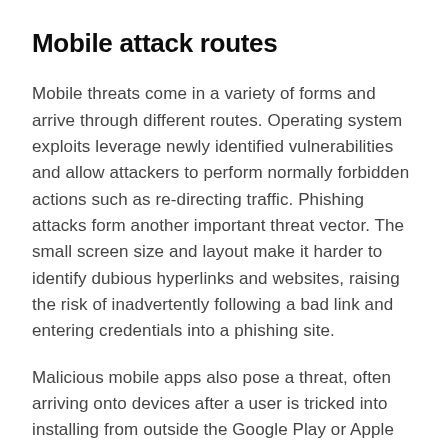Mobile attack routes
Mobile threats come in a variety of forms and arrive through different routes. Operating system exploits leverage newly identified vulnerabilities and allow attackers to perform normally forbidden actions such as re-directing traffic. Phishing attacks form another important threat vector. The small screen size and layout make it harder to identify dubious hyperlinks and websites, raising the risk of inadvertently following a bad link and entering credentials into a phishing site.
Malicious mobile apps also pose a threat, often arriving onto devices after a user is tricked into installing from outside the Google Play or Apple stores. Fake COVID-19 tracing apps are an example of this, duping users into an